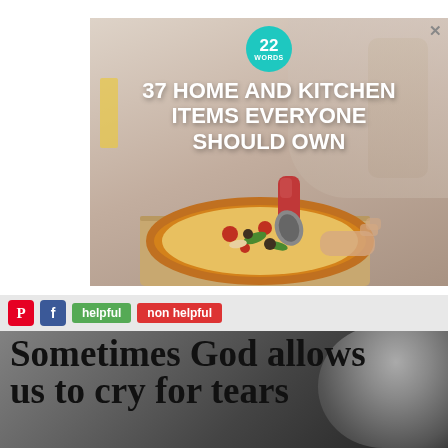[Figure (screenshot): Advertisement banner for '22 Words' website showing a pizza cutter (red and gray handle) on a pizza with text '37 HOME AND KITCHEN ITEMS EVERYONE SHOULD OWN'. Close button (X) in top right corner.]
helpful   non helpful
[Figure (photo): Dark grayscale background photo showing a person's face/hair, partially visible, behind large text.]
Sometimes God allows us to cry for tears